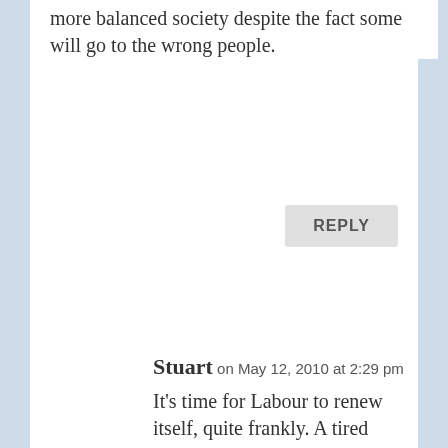more balanced society despite the fact some will go to the wrong people.
REPLY
Stuart on May 12, 2010 at 2:29 pm
[Figure (photo): Avatar photo of a young man holding a small child]
It’s time for Labour to renew itself, quite frankly. A tired bunch being led by tired Spin Kings.
Your recent blog entry reads like nothing more than a jealous rant and